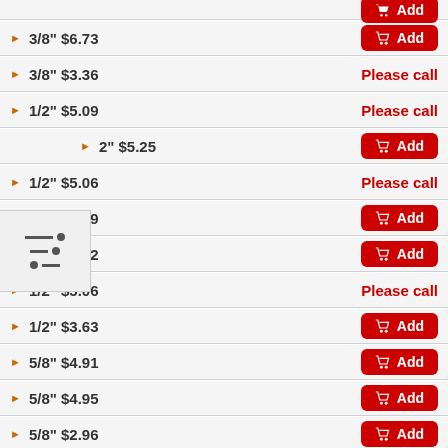3/8" $6.73 — Add
3/8" $3.36 — Please call
1/2" $5.09 — Please call
1/2" $5.25 — Add
1/2" $5.06 — Please call
1/2" $3.39 — Add
1/2" $4.22 — Add
1/2" $5.06 — Please call
1/2" $3.63 — Add
5/8" $4.91 — Add
5/8" $4.95 — Add
5/8" $2.96 — Add
5/8" $3.93 — Add